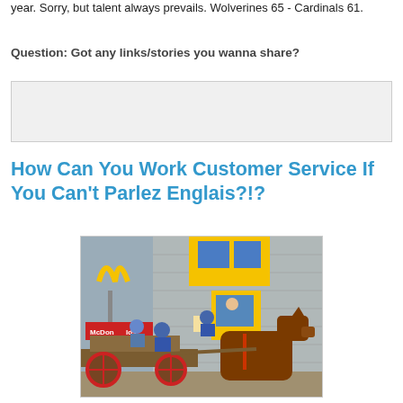year. Sorry, but talent always prevails. Wolverines 65 - Cardinals 61.
Question: Got any links/stories you wanna share?
[Figure (other): Empty comment/text input box area with light gray background]
How Can You Work Customer Service If You Can't Parlez Englais?!?
[Figure (photo): A horse-drawn cart with passengers at a McDonald's drive-through window. The McDonald's golden arches sign is visible with a red background reading 'McDonalds'. The building has yellow trim and blue windows. A brown horse is pulling a wooden cart with red wheels.]